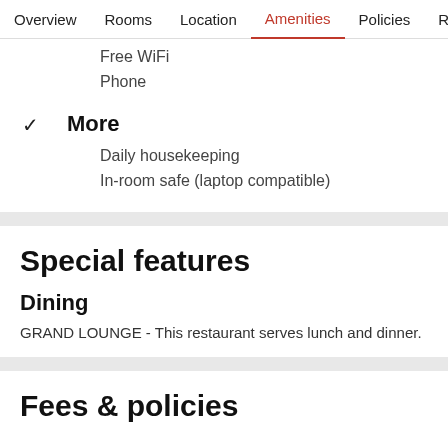Overview  Rooms  Location  Amenities  Policies  Reviews
Free WiFi
Phone
More
Daily housekeeping
In-room safe (laptop compatible)
Special features
Dining
GRAND LOUNGE - This restaurant serves lunch and dinner.
Fees & policies